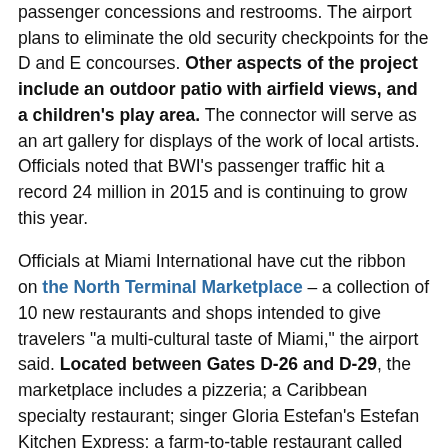passenger concessions and restrooms. The airport plans to eliminate the old security checkpoints for the D and E concourses. Other aspects of the project include an outdoor patio with airfield views, and a children's play area. The connector will serve as an art gallery for displays of the work of local artists. Officials noted that BWI's passenger traffic hit a record 24 million in 2015 and is continuing to grow this year.
Officials at Miami International have cut the ribbon on the North Terminal Marketplace – a collection of 10 new restaurants and shops intended to give travelers "a multi-cultural taste of Miami," the airport said. Located between Gates D-26 and D-29, the marketplace includes a pizzeria; a Caribbean specialty restaurant; singer Gloria Estefan's Estefan Kitchen Express; a farm-to-table restaurant called Fig and Fennel; an empanadas outlet; a seafood deli; and retail shops selling cigars, Miami Marlins merchandise, designer porcelain dolls, and fashions from Perry Ellis.